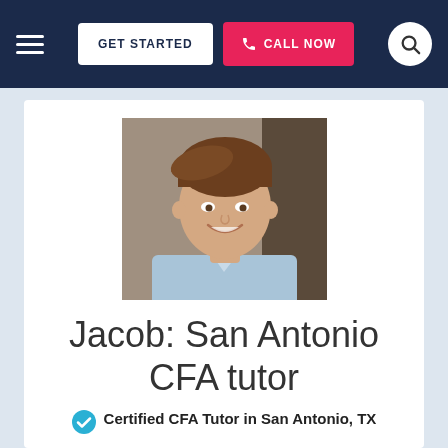GET STARTED | CALL NOW
[Figure (photo): Headshot of Jacob, a young man with brown hair wearing a light blue button-up shirt, smiling at the camera]
Jacob: San Antonio CFA tutor
Certified CFA Tutor in San Antonio, TX